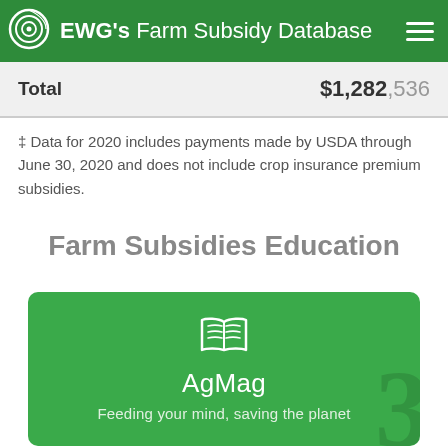EWG's Farm Subsidy Database
| Total | $1,282,536 |
| --- | --- |
‡ Data for 2020 includes payments made by USDA through June 30, 2020 and does not include crop insurance premium subsidies.
Farm Subsidies Education
[Figure (illustration): AgMag promotional card with book icon, title 'AgMag', and tagline 'Feeding your mind, saving the planet' on a green background]